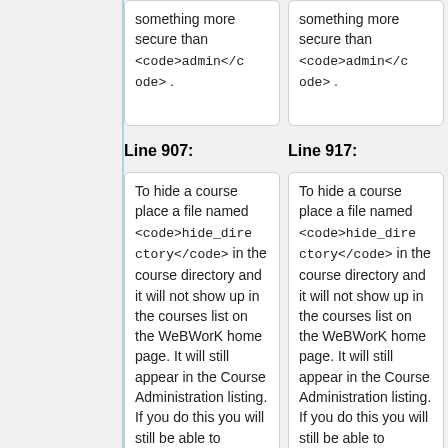something more secure than <code>admin</code> .
something more secure than <code>admin</code> .
Line 907:
Line 917:
To hide a course place a file named <code>hide_directory</code> in the course directory and it will not show up in the courses list on the WeBWorK home page. It will still appear in the Course Administration listing. If you do this you will still be able to
To hide a course place a file named <code>hide_directory</code> in the course directory and it will not show up in the courses list on the WeBWorK home page. It will still appear in the Course Administration listing. If you do this you will still be able to